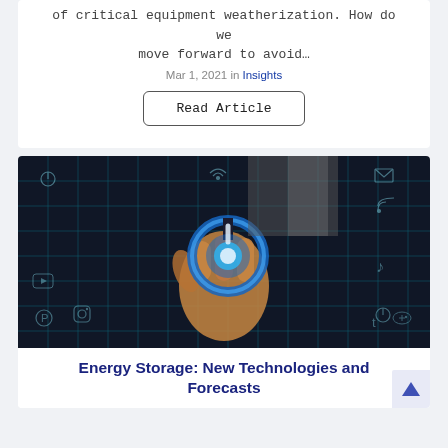of critical equipment weatherization. How do we move forward to avoid…
Mar 1, 2021 in Insights
Read Article
[Figure (photo): Person pressing a glowing blue power button icon against a dark background with cyan grid lines and social media/tech icons]
Energy Storage: New Technologies and Forecasts